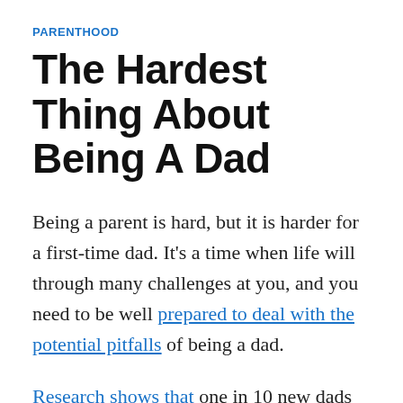PARENTHOOD
The Hardest Thing About Being A Dad
Being a parent is hard, but it is harder for a first-time dad. It’s a time when life will through many challenges at you, and you need to be well prepared to deal with the potential pitfalls of being a dad.
Research shows that one in 10 new dads develop postnatal depression and one in seven experiences high levels of psychological distress. Let’s face it